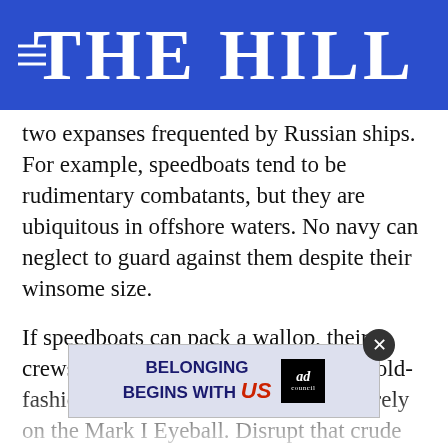THE HILL
two expanses frequented by Russian ships. For example, speedboats tend to be rudimentary combatants, but they are ubiquitous in offshore waters. No navy can neglect to guard against them despite their winsome size.
If speedboats can pack a wallop, their crews typically aim their weapons the old-fashioned way: point and shoot. They rely on the Mark I Eyeball. Disrupt that crude fire-control system — fire control being the process of detecting and tracking an enemy craft, computing a firing solution, and feeding it to weapons, and launching guided munitions such as Russia's could frustrate a low-tech
[Figure (other): Ad banner: 'BELONGING BEGINS WITH US' with Ad Council logo and close button overlay]